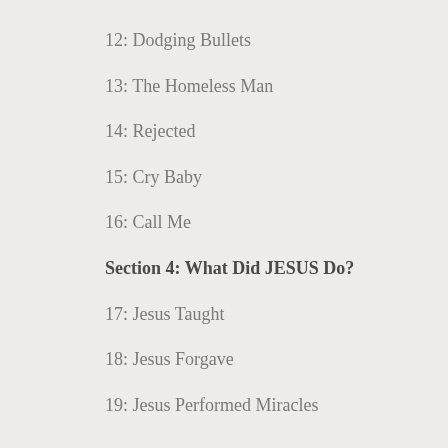12: Dodging Bullets
13: The Homeless Man
14: Rejected
15: Cry Baby
16: Call Me
Section 4: What Did JESUS Do?
17: Jesus Taught
18: Jesus Forgave
19: Jesus Performed Miracles